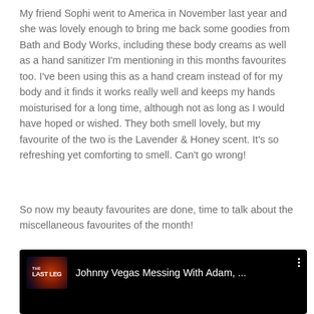My friend Sophi went to America in November last year and she was lovely enough to bring me back some goodies from Bath and Body Works, including these body creams as well as a hand sanitizer I'm mentioning in this months favourites too. I've been using this as a hand cream instead of for my body and it finds it works really well and keeps my hands moisturised for a long time, although not as long as I would have hoped or wished. They both smell lovely, but my favourite of the two is the Lavender & Honey scent. It's so refreshing yet comforting to smell. Can't go wrong!
So now my beauty favourites are done, time to talk about the miscellaneous favourites of the month!
[Figure (screenshot): YouTube video thumbnail showing 'The Last Leg' channel logo on a dark background with the video title 'Johnny Vegas Messing With Adam, ...' and a three-dot menu icon.]